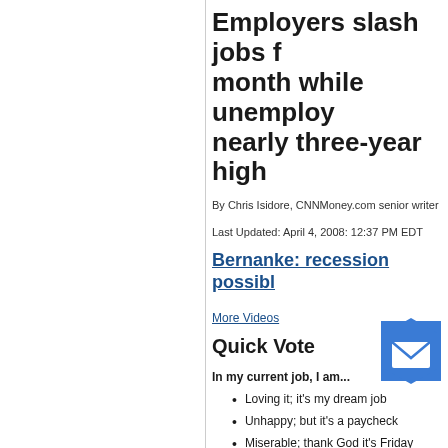Employers slash jobs for month while unemployment at nearly three-year high
By Chris Isidore, CNNMoney.com senior writer
Last Updated: April 4, 2008: 12:37 PM EDT
Bernanke: recession possible
More Videos
Quick Vote
In my current job, I am...
Loving it; it's my dream job
Unhappy; but it's a paycheck
Miserable; thank God it's Friday
or View results
NEW YORK (CNNMoney.com) -- U.S.